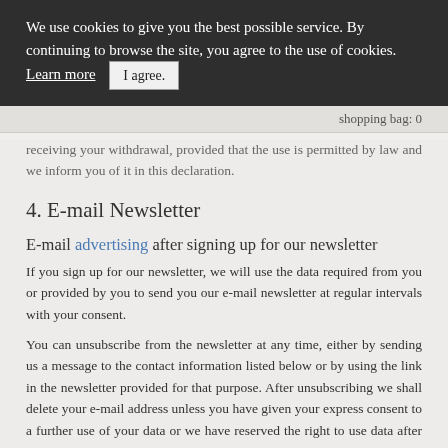We use cookies to give you the best possible service. By continuing to browse the site, you agree to the use of cookies. Learn more   I agree.
shopping bag: 0
receiving your withdrawal, provided that the use is permitted by law and we inform you of it in this declaration.
4. E-mail Newsletter
E-mail advertising after signing up for our newsletter
If you sign up for our newsletter, we will use the data required from you or provided by you to send you our e-mail newsletter at regular intervals with your consent.
You can unsubscribe from the newsletter at any time, either by sending us a message to the contact information listed below or by using the link in the newsletter provided for that purpose. After unsubscribing we shall delete your e-mail address unless you have given your express consent to a further use of your data or we have reserved the right to use data after receiving your withdrawal, provided that the use is permitted by law and we